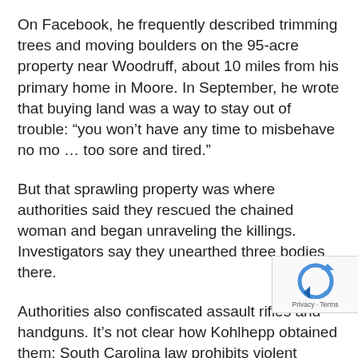On Facebook, he frequently described trimming trees and moving boulders on the 95-acre property near Woodruff, about 10 miles from his primary home in Moore. In September, he wrote that buying land was a way to stay out of trouble: “you won’t have any time to misbehave no mo … too sore and tired.”
But that sprawling property was where authorities said they rescued the chained woman and began unraveling the killings. Investigators say they unearthed three bodies there.
Authorities also confiscated assault rifles and handguns. It’s not clear how Kohlhepp obtained them; South Carolina law prohibits violent felons from owning firearms.
Waldrop, the neighbor, met Kohlhepp soon after he bought